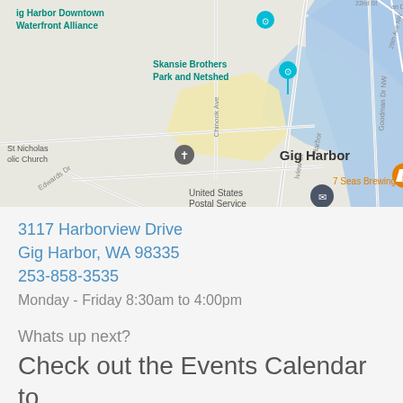[Figure (map): Google Maps screenshot showing Gig Harbor area with landmarks: Gig Harbor Downtown Waterfront Alliance, Skansie Brothers Park and Netshed, St Nicholas Catholic Church, 7 Seas Brewing, United States Postal Service, roads including Chinook Ave, Harborview Dr, Goodman Dr NW, 26th Ave NW, 22nd St]
3117 Harborview Drive
Gig Harbor, WA 98335
253-858-3535
Monday - Friday 8:30am to 4:00pm
Whats up next?
Check out the Events Calendar to see what's next!